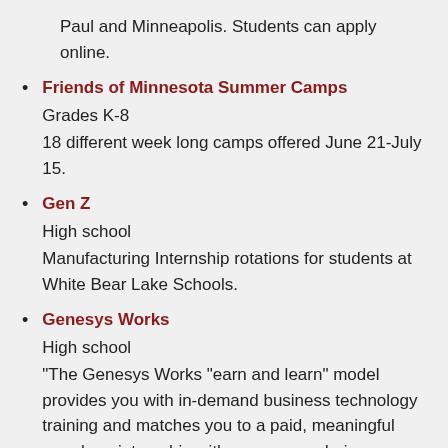Paul and Minneapolis. Students can apply online.
Friends of Minnesota Summer Camps
Grades K-8
18 different week long camps offered June 21-July 15.
Gen Z
High school
Manufacturing Internship rotations for students at White Bear Lake Schools.
Genesys Works
High school
“The Genesys Works “earn and learn” model provides you with in-demand business technology training and matches you to a paid, meaningful year-long internship with a company during your senior year of high school. As a young professional, your unique perspective positively influences your